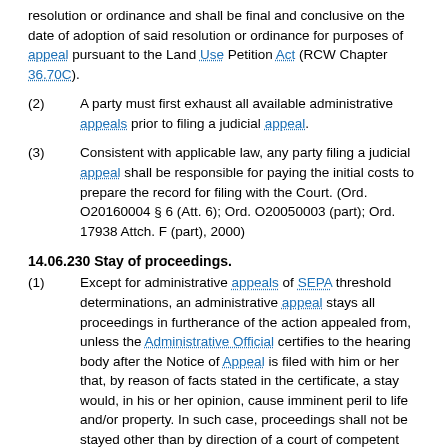resolution or ordinance and shall be final and conclusive on the date of adoption of said resolution or ordinance for purposes of appeal pursuant to the Land Use Petition Act (RCW Chapter 36.70C).
(2) A party must first exhaust all available administrative appeals prior to filing a judicial appeal.
(3) Consistent with applicable law, any party filing a judicial appeal shall be responsible for paying the initial costs to prepare the record for filing with the Court. (Ord. O20160004 § 6 (Att. 6); Ord. O20050003 (part); Ord. 17938 Attch. F (part), 2000)
14.06.230 Stay of proceedings.
(1) Except for administrative appeals of SEPA threshold determinations, an administrative appeal stays all proceedings in furtherance of the action appealed from, unless the Administrative Official certifies to the hearing body after the Notice of Appeal is filed with him or her that, by reason of facts stated in the certificate, a stay would, in his or her opinion, cause imminent peril to life and/or property. In such case, proceedings shall not be stayed other than by direction of a court of competent jurisdiction.
(2) Judicial appeals shall be governed by Chapter 36.70C RCW. (Ord. O20090010 Attch. 1 (part); Ord. O20050003 (part); Ord. 17938 Attch. F (part), 2000)